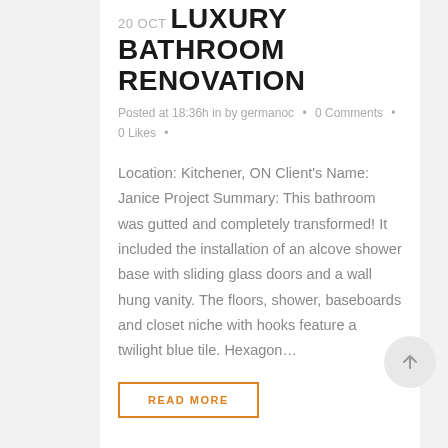LUXURY BATHROOM RENOVATION
Posted at 18:36h in by germanoc • 0 Comments • 0 Likes •
Location: Kitchener, ON Client's Name: Janice Project Summary: This bathroom was gutted and completely transformed! It included the installation of an alcove shower base with sliding glass doors and a wall hung vanity. The floors, shower, baseboards and closet niche with hooks feature a twilight blue tile. Hexagon…
READ MORE